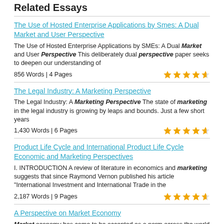Related Essays
The Use of Hosted Enterprise Applications by Smes: A Dual Market and User Perspective
The Use of Hosted Enterprise Applications by SMEs: A Dual Market and User Perspective This deliberately dual perspective paper seeks to deepen our understanding of
856 Words | 4 Pages
The Legal Industry: A Marketing Perspective
The Legal Industry: A Marketing Perspective The state of marketing in the legal industry is growing by leaps and bounds. Just a few short years
1,430 Words | 6 Pages
Product Life Cycle and International Product Life Cycle Economic and Marketing Perspectives
I. INTRODUCTION A review of literature in economics and marketing suggests that since Raymond Vernon published his article "International Investment and International Trade in the
2,187 Words | 9 Pages
A Perspective on Market Economy
Market economy has come to be accepted as a norm across the world with